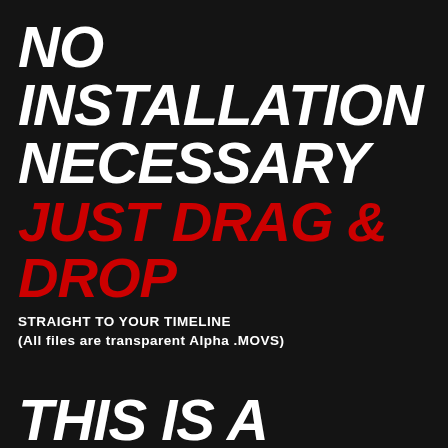NO INSTALLATION NECESSARY
JUST DRAG & DROP
STRAIGHT TO YOUR TIMELINE
(All files are transparent Alpha .MOVS)
THIS IS A DIGITAL PRODUCT
AFTER CHECKOUT - EXPECT A DOWNLOAD LINK IN YOUR EMAIL